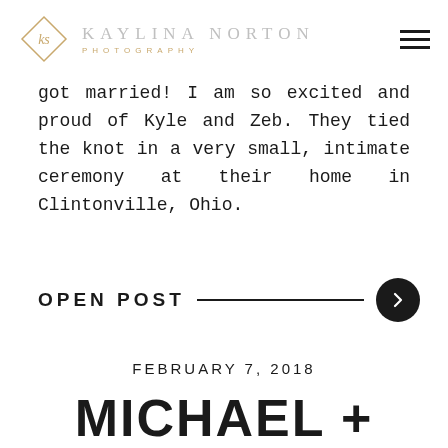KAYLINA NORTON PHOTOGRAPHY
got married! I am so excited and proud of Kyle and Zeb. They tied the knot in a very small, intimate ceremony at their home in Clintonville, Ohio.
OPEN POST
FEBRUARY 7, 2018
MICHAEL +